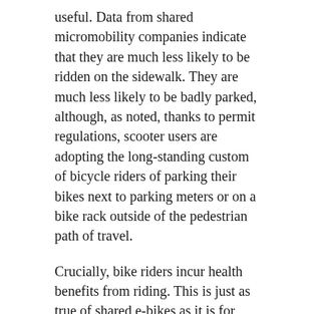useful. Data from shared micromobility companies indicate that they are much less likely to be ridden on the sidewalk. They are much less likely to be badly parked, although, as noted, thanks to permit regulations, scooter users are adopting the long-standing custom of bicycle riders of parking their bikes next to parking meters or on a bike rack outside of the pedestrian path of travel.
Crucially, bike riders incur health benefits from riding. This is just as true of shared e-bikes as it is for regular bikes, because shared e-bikes can be regulated to limit their top motor-assisted speed and to ensure that at least some effort is required to pedal the device. Increasing bicycling will improve public health by reducing incidence of cardiovascular disease, cancer, and depression, and reduce health care costs. It's a consideration of extreme importance where the government has a